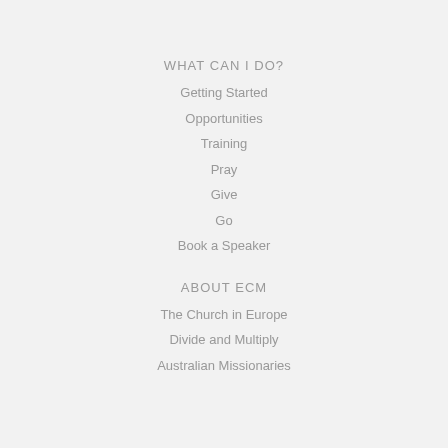WHAT CAN I DO?
Getting Started
Opportunities
Training
Pray
Give
Go
Book a Speaker
ABOUT ECM
The Church in Europe
Divide and Multiply
Australian Missionaries